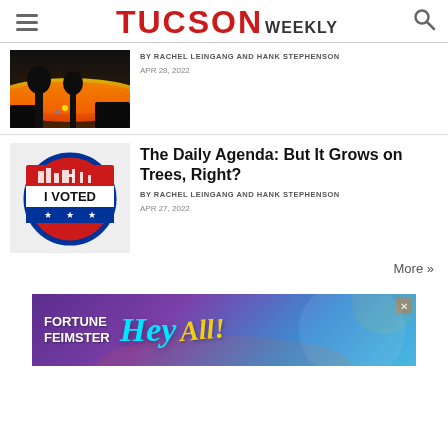TUCSON WEEKLY
[Figure (photo): Nighttime wildfire with glowing flames and smoke against dark sky with silhouetted trees]
BY RACHEL LEINGANG AND HANK STEPHENSON
APR 28, 2022
[Figure (photo): I VOTED sticker with red, white, and blue circular design featuring Tucson skyline silhouette]
The Daily Agenda: But It Grows on Trees, Right?
BY RACHEL LEINGANG AND HANK STEPHENSON
APR 27, 2022
More »
[Figure (advertisement): Advertisement banner for Fortune Feimster with colorful purple and blue background and 'Hey' text in teal cursive]